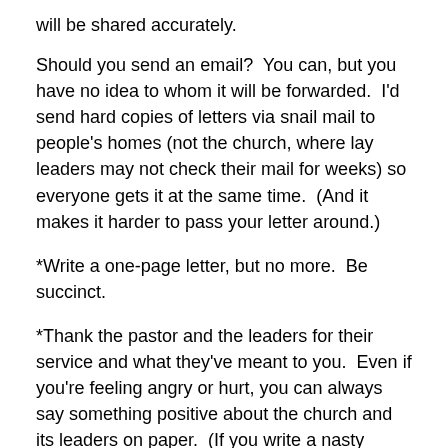will be shared accurately.
Should you send an email?  You can, but you have no idea to whom it will be forwarded.  I'd send hard copies of letters via snail mail to people's homes (not the church, where lay leaders may not check their mail for weeks) so everyone gets it at the same time.  (And it makes it harder to pass your letter around.)
*Write a one-page letter, but no more.  Be succinct.
*Thank the pastor and the leaders for their service and what they've meant to you.  Even if you're feeling angry or hurt, you can always say something positive about the church and its leaders on paper.  (If you write a nasty letter, the leaders will forget your reasoning and focus on your tone – and you will look bad.)